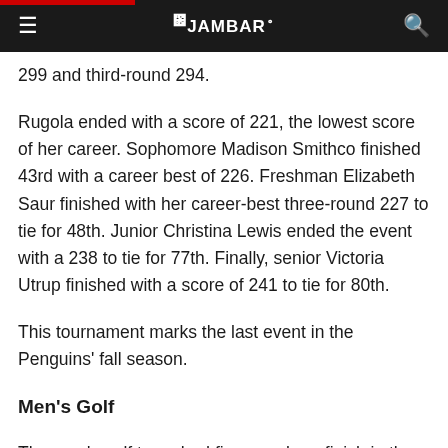THE JAMBAR
299 and third-round 294.
Rugola ended with a score of 221, the lowest score of her career. Sophomore Madison Smithco finished 43rd with a career best of 226. Freshman Elizabeth Saur finished with her career-best three-round 227 to tie for 48th. Junior Christina Lewis ended the event with a 238 to tie for 77th. Finally, senior Victoria Utrup finished with a score of 241 to tie for 80th.
This tournament marks the last event in the Penguins' fall season.
Men's Golf
The men's golf team had five members finish in the